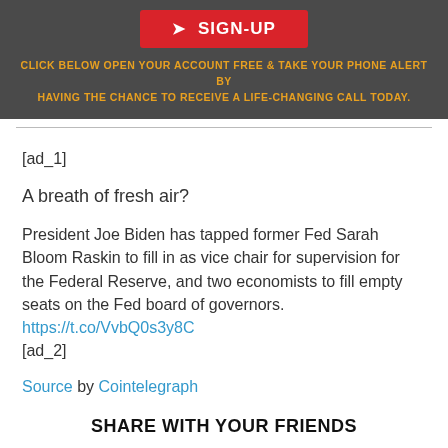[Figure (screenshot): Red SIGN-UP button on dark grey background]
CLICK BELOW OPEN YOUR ACCOUNT FREE & TAKE YOUR PHONE ALERT BY HAVING THE CHANCE TO RECEIVE A LIFE-CHANGING CALL TODAY.
[ad_1]
A breath of fresh air?
President Joe Biden has tapped former Fed Sarah Bloom Raskin to fill in as vice chair for supervision for the Federal Reserve, and two economists to fill empty seats on the Fed board of governors. https://t.co/VvbQ0s3y8C
[ad_2]
Source by Cointelegraph
SHARE WITH YOUR FRIENDS